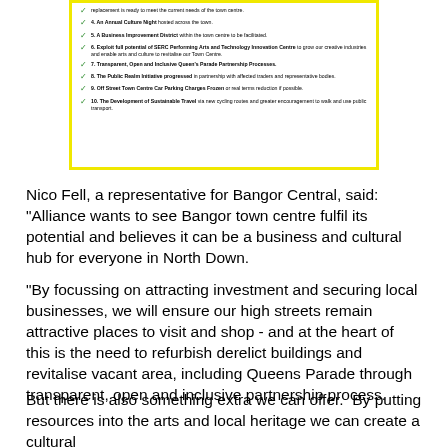[Figure (other): A checklist document with yellow border showing 10 policy commitments with green checkmarks, including items about Annual Culture Night, Business Improvement District, SERC Performing Arts and Technology Innovation Centre, Queen's Parade Partnership Processes, Public Realm Initiative, Off Street Town Centre Car Parking Charges Frozen, and Development of Sustainable Travel.]
Nico Fell, a representative for Bangor Central, said: "Alliance wants to see Bangor town centre fulfil its potential and believes it can be a business and cultural hub for everyone in North Down.
"By focussing on attracting investment and securing local businesses, we will ensure our high streets remain attractive places to visit and shop - and at the heart of this is the need to refurbish derelict buildings and revitalise vacant area, including Queens Parade through transparent, open and inclusive partnership process.
But there is also something extra we can offer.  By putting resources into the arts and local heritage we can create a cultural